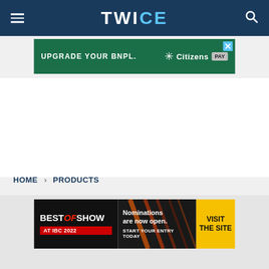TWICE
[Figure (screenshot): Advertisement banner: UPGRADE YOUR BNPL. Citizens PAY on green background]
HOME › PRODUCTS
[Figure (screenshot): Best of Show at IBC 2022 advertisement: Nominations are now open. START YOUR ENTRY TODAY. VISIT THE SITE]